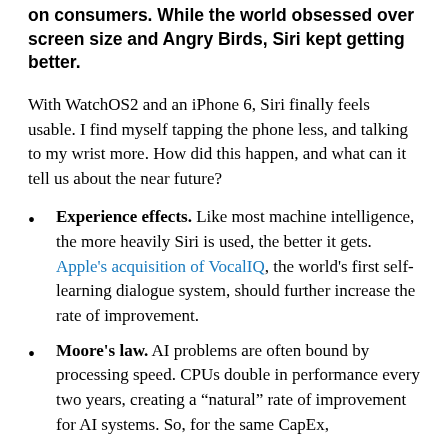on consumers. While the world obsessed over screen size and Angry Birds, Siri kept getting better.
With WatchOS2 and an iPhone 6, Siri finally feels usable. I find myself tapping the phone less, and talking to my wrist more. How did this happen, and what can it tell us about the near future?
Experience effects. Like most machine intelligence, the more heavily Siri is used, the better it gets. Apple's acquisition of VocalIQ, the world's first self-learning dialogue system, should further increase the rate of improvement.
Moore's law. AI problems are often bound by processing speed. CPUs double in performance every two years, creating a “natural” rate of improvement for AI systems. So, for the same CapEx,